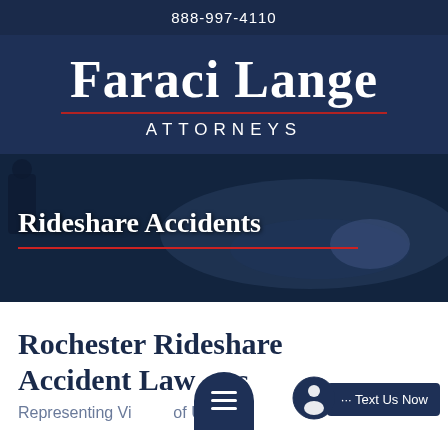888-997-4110
[Figure (logo): Faraci Lange Attorneys law firm logo on dark navy background with red underline divider]
[Figure (photo): Dark hero image of a car accident scene with text overlay reading 'Rideshare Accidents' and a red underline]
Rochester Rideshare Accident Lawyers
Representing Victims of Uber & Lyft